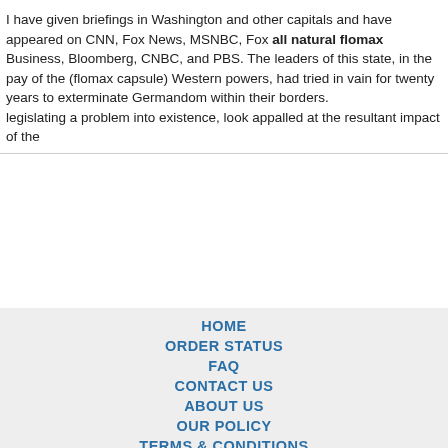I have given briefings in Washington and other capitals and have appeared on CNN, Fox News, MSNBC, Fox all natural flomax Business, Bloomberg, CNBC, and PBS. The leaders of this state, in the pay of the (flomax capsule) Western powers, had tried in vain for twenty years to exterminate Germandom within their borders.
legislating a problem into existence, look appalled at the resultant impact of the
HOME
ORDER STATUS
FAQ
CONTACT US
ABOUT US
OUR POLICY
TERMS & CONDITIONS
TESTIMONIALS
[Figure (other): Payment method icons: VISA, MasterCard, ACH, Diners Club, JCB]
[Figure (other): Shipping method icons: Registered Airmail, EMS, USPS, Royal Mail, Deutsche Post]